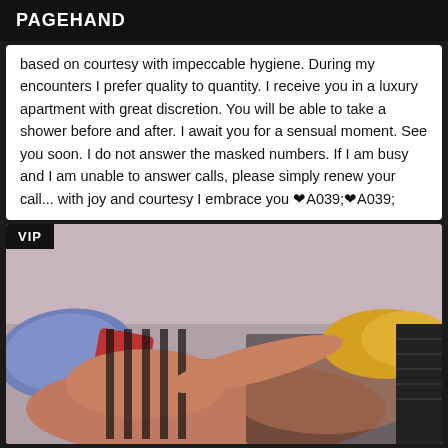PAGEHAND
based on courtesy with impeccable hygiene. During my encounters I prefer quality to quantity. I receive you in a luxury apartment with great discretion. You will be able to take a shower before and after. I await you for a sensual moment. See you soon. I do not answer the masked numbers. If I am busy and I am unable to answer calls, please simply renew your call... with joy and courtesy I embrace you ❤A039;❤A039;
[Figure (photo): Photo of a woman lying down wearing black lace lingerie, with pillows visible in background. VIP badge in top left corner.]